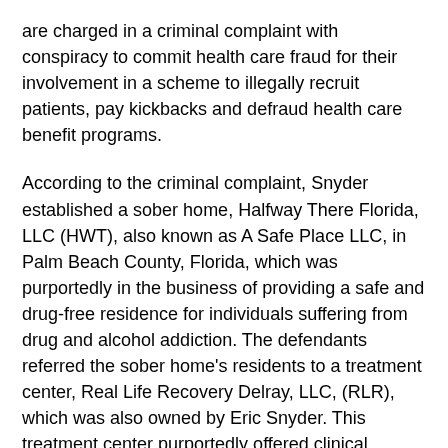are charged in a criminal complaint with conspiracy to commit health care fraud for their involvement in a scheme to illegally recruit patients, pay kickbacks and defraud health care benefit programs.
According to the criminal complaint, Snyder established a sober home, Halfway There Florida, LLC (HWT), also known as A Safe Place LLC, in Palm Beach County, Florida, which was purportedly in the business of providing a safe and drug-free residence for individuals suffering from drug and alcohol addiction. The defendants referred the sober home's residents to a treatment center, Real Life Recovery Delray, LLC, (RLR), which was also owned by Eric Snyder. This treatment center purportedly offered clinical treatment services for persons suffering from alcohol and drug addiction.
According to the criminal complaint, to obtain patients for the